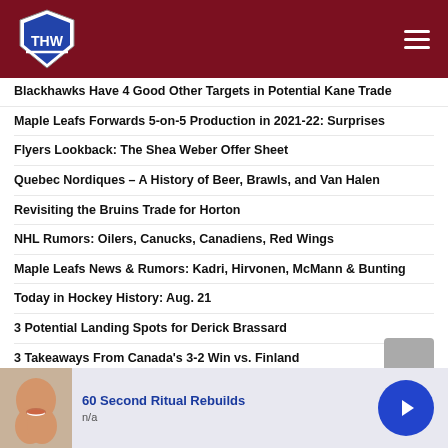THW - The Hockey Writers
Blackhawks Have 4 Good Other Targets in Potential Kane Trade
Maple Leafs Forwards 5-on-5 Production in 2021-22: Surprises
Flyers Lookback: The Shea Weber Offer Sheet
Quebec Nordiques – A History of Beer, Brawls, and Van Halen
Revisiting the Bruins Trade for Horton
NHL Rumors: Oilers, Canucks, Canadiens, Red Wings
Maple Leafs News & Rumors: Kadri, Hirvonen, McMann & Bunting
Today in Hockey History: Aug. 21
3 Potential Landing Spots for Derick Brassard
3 Takeaways From Canada's 3-2 Win vs. Finland
Lightning Found Important Cap Savings With Bellemare
3 Winnipeg Jets Bounce-Back Candidates for 2022-23
[Figure (other): Advertisement banner: '60 Second Ritual Rebuilds' with thumbnail of a smiling person and a blue arrow button]